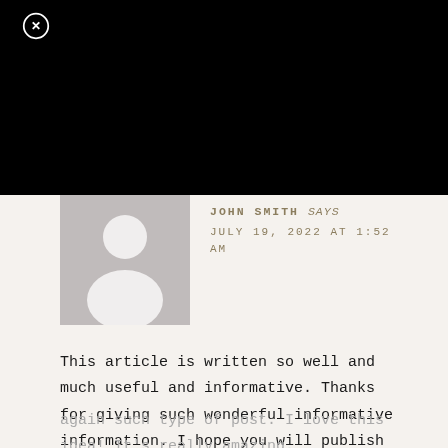[Figure (screenshot): Black top bar covering upper portion of page, representing a modal or overlay background]
[Figure (illustration): Generic grey avatar/silhouette placeholder image for user profile photo]
JOHN SMITH says
JULY 19, 2022 AT 1:52 AM
This article is written so well and much useful and informative. Thanks for giving such wonderful informative information. I hope you will publish again such type of post. I love this idea! It's really amazing.